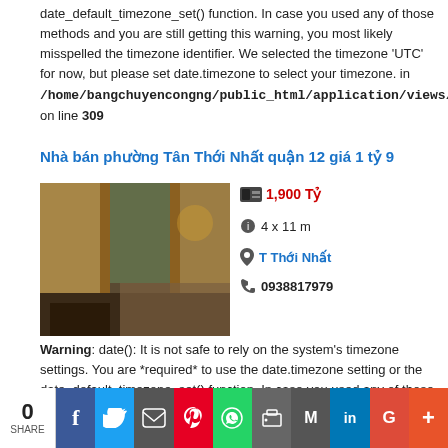date_default_timezone_set() function. In case you used any of those methods and you are still getting this warning, you most likely misspelled the timezone identifier. We selected the timezone 'UTC' for now, but please set date.timezone to select your timezone. in /home/bangchuyencongng/public_html/application/views/scripts/index/load on line 309
Nhà bán phường Tân Thới Nhất quận 12 giá 1 tỷ 9
[Figure (photo): Interior photo of a room with curtains and furniture]
1,900 Tỷ
4 x 11 m
T Thới Nhất
0938817979
Warning: date(): It is not safe to rely on the system's timezone settings. You are *required* to use the date.timezone setting or the date_default_timezone_set() function. In case you used any of those methods and you are still getting this warning, you most likely misspelled the timezone identifier. We selected the timezone 'UTC' for now, but please set date.timezone to select your timezone. in /home/bangchuyencongng/public_html/application/views/scripts/index/load on line 309